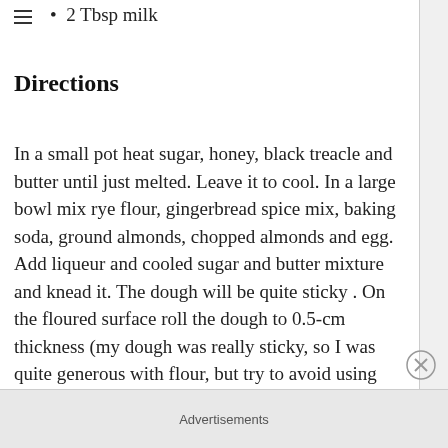2 Tbsp milk
Directions
In a small pot heat sugar, honey, black treacle and butter until just melted. Leave it to cool. In a large bowl mix rye flour, gingerbread spice mix, baking soda, ground almonds, chopped almonds and egg. Add liqueur and cooled sugar and butter mixture and knead it. The dough will be quite sticky . On the floured surface roll the dough to 0.5-cm thickness (my dough was really sticky, so I was quite generous with flour, but try to avoid using too much flour if you don’t need to). Cut the cookies with a cutter and place them on a baking
Advertisements